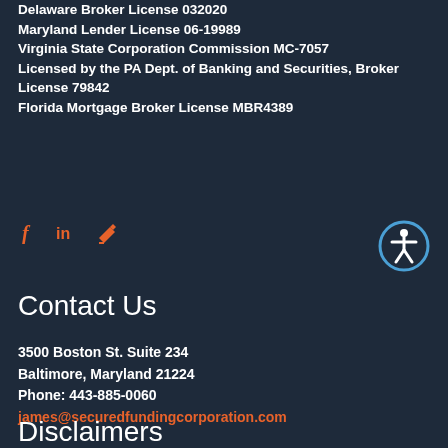Delaware Broker License 032020
Maryland Lender License 06-19989
Virginia State Corporation Commission MC-7057
Licensed by the PA Dept. of Banking and Securities, Broker License 79842
Florida Mortgage Broker License MBR4389
[Figure (other): Social media icons: Facebook (f), LinkedIn (in), and a pen/edit icon in orange]
[Figure (other): Accessibility icon button - white circle with person figure inside a blue circle border]
Contact Us
3500 Boston St. Suite 234
Baltimore, Maryland 21224
Phone: 443-885-0060
james@securedfundingcorporation.com
Disclaimers